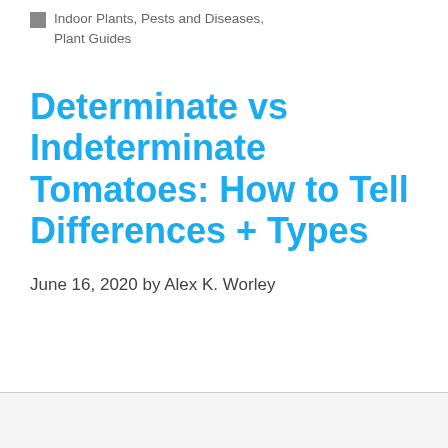Indoor Plants, Pests and Diseases, Plant Guides
Determinate vs Indeterminate Tomatoes: How to Tell Differences + Types
June 16, 2020 by Alex K. Worley